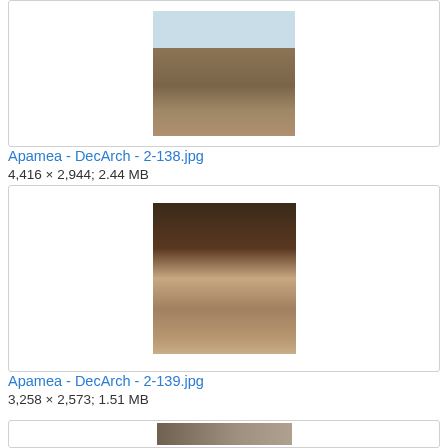[Figure (photo): First gallery image box showing a carved stone column capital with sky background (Apamea - DecArch - 2-138.jpg)]
Apamea - DecArch - 2-138.jpg
4,416 × 2,944; 2.44 MB
[Figure (photo): Second gallery image box showing a damaged stone column capital on dark ground (Apamea - DecArch - 2-139.jpg)]
Apamea - DecArch - 2-139.jpg
3,258 × 2,573; 1.51 MB
[Figure (photo): Third gallery image box partially visible at bottom, showing ruins landscape]